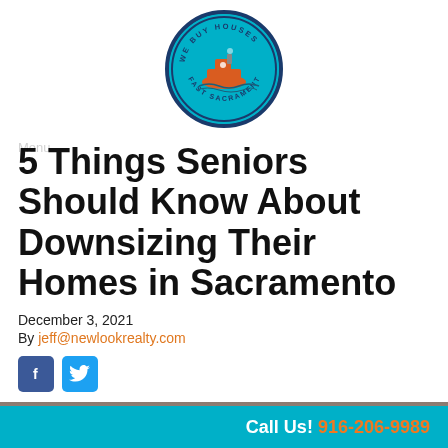[Figure (logo): We Buy Houses Fast Sacramento circular logo with teal background and a ship in the center]
5 Things Seniors Should Know About Downsizing Their Homes in Sacramento
December 3, 2021
By jeff@newlookrealty.com
[Figure (other): Facebook and Twitter social share buttons]
[Figure (photo): Photo of seniors/people, partially visible at bottom of page]
Call Us! 916-206-9989